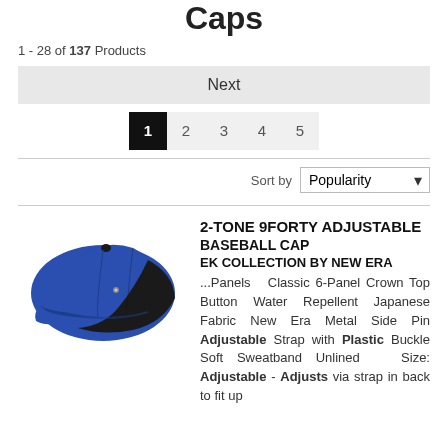Caps
1 - 28 of 137 Products
Next
1  2  3  4  5
Sort by Popularity
[Figure (photo): Blue and black 2-tone baseball cap (New Era 9Forty style) shown in 3/4 view]
2-TONE 9FORTY ADJUSTABLE BASEBALL CAP EK COLLECTION BY NEW ERA ...Panels Classic 6-Panel Crown Top Button Water Repellent Japanese Fabric New Era Metal Side Pin Adjustable Strap with Plastic Buckle Soft Sweatband Unlined Size: Adjustable - Adjusts via strap in back to fit up